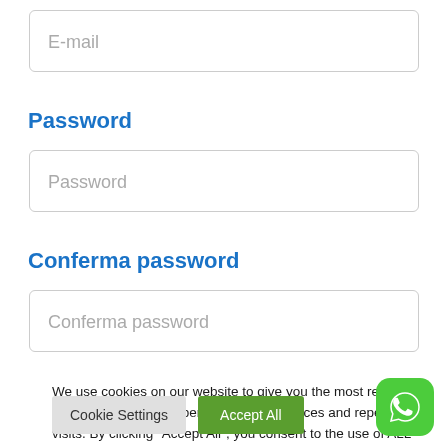[Figure (screenshot): Email input field with placeholder text 'E-mail']
Password
[Figure (screenshot): Password input field with placeholder text 'Password']
Conferma password
[Figure (screenshot): Confirm password input field with placeholder text 'Conferma password']
We use cookies on our website to give you the most relevant experience by remembering your preferences and repeat visits. By clicking "Accept All", you consent to the use of ALL the cookies. However, you may visit "Cookie Settings" to provide a controlled consent.
[Figure (screenshot): Cookie Settings button and Accept All button, plus WhatsApp icon in bottom right]